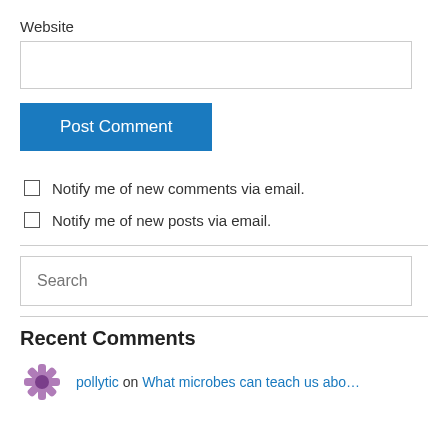Website
Post Comment
Notify me of new comments via email.
Notify me of new posts via email.
Search
Recent Comments
pollytic on What microbes can teach us abo…